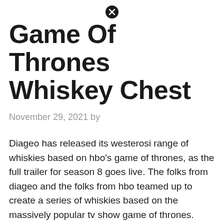[Figure (other): Close/cancel icon (circled X) at top center]
Game Of Thrones Whiskey Chest
November 29, 2021 by
Diageo has released its westerosi range of whiskies based on hbo’s game of thrones, as the full trailer for season 8 goes live. The folks from diageo and the folks from hbo teamed up to create a series of whiskies based on the massively popular tv show game of thrones.
[Figure (other): Close/cancel icon (circled X) at bottom center]